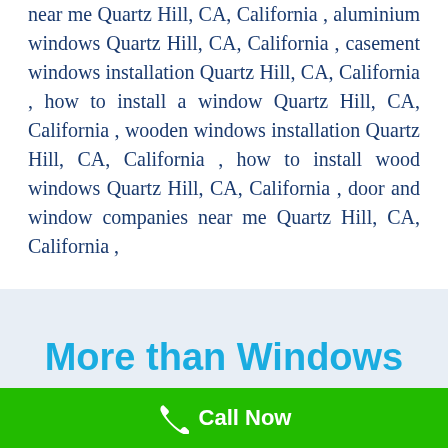near me Quartz Hill, CA, California , aluminium windows Quartz Hill, CA, California , casement windows installation Quartz Hill, CA, California , how to install a window Quartz Hill, CA, California , wooden windows installation Quartz Hill, CA, California , how to install wood windows Quartz Hill, CA, California , door and window companies near me Quartz Hill, CA, California ,
More than Windows
Various
Call Now